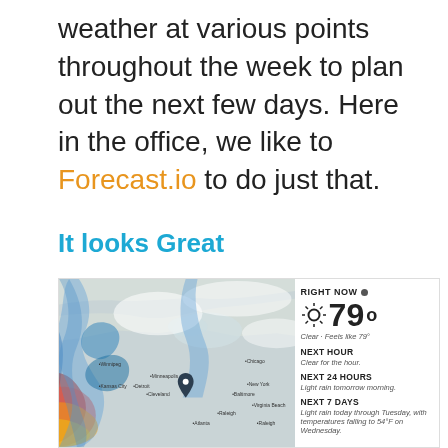weather at various points throughout the week to plan out the next few days. Here in the office, we like to Forecast.io to do just that.
It looks Great
[Figure (screenshot): Screenshot of Forecast.io weather app showing a radar/precipitation map overlaid on a regional US map with colorful weather patterns (blue and red/yellow precipitation bands), alongside a weather panel showing: RIGHT NOW 79° Clear - Feels like 79°, NEXT HOUR Clear for the hour., NEXT 24 HOURS Light rain tomorrow morning., NEXT 7 DAYS Light rain today through Tuesday, with temperatures falling to 54°F on Wednesday.]